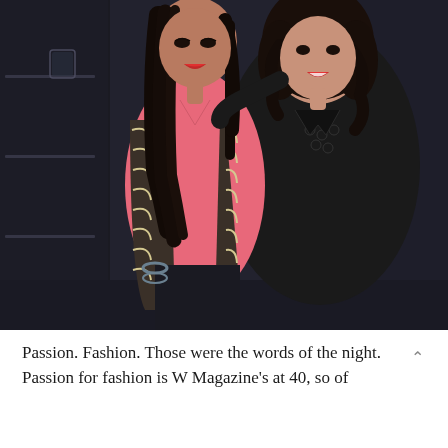[Figure (photo): Two women posing together indoors against a dark wall with shelving. The woman on the left wears a pink top with a black and white patterned jacket and has long dark hair. The woman on the right wears an all-black jacket with a decorative necklace and has curly dark hair. Both women are wearing red lipstick and smiling.]
Passion. Fashion. Those were the words of the night. Passion for fashion is W Magazine's at 40, so of